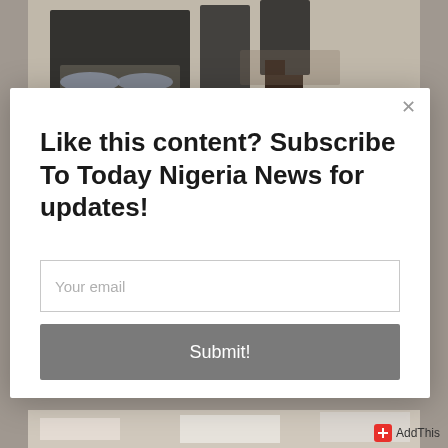[Figure (photo): Photograph of people's legs and feet, partially visible at the top and bottom of the page behind a modal popup overlay]
×
Like this content? Subscribe To Today Nigeria News for updates!
Your email
Submit!
AddThis